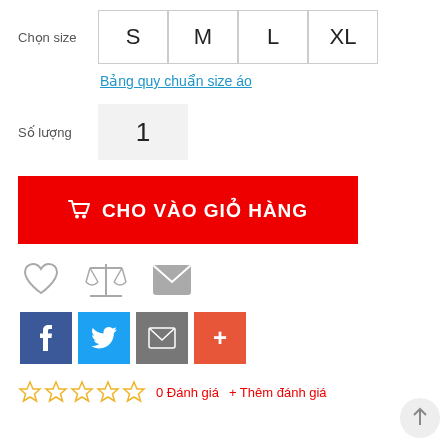Chọn size
S  M  L  XL
Bảng quy chuẩn size áo
Số lượng
1
CHO VÀO GIỎ HÀNG
[Figure (infographic): Action icons: heart (wishlist), scales (compare), envelope (email)]
[Figure (infographic): Social share buttons: Facebook (f), Twitter (bird), Email (envelope), More (+)]
0 Đánh giá   + Thêm đánh giá